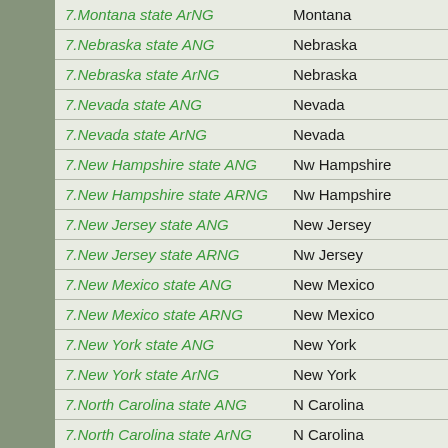| Entry | State |
| --- | --- |
| 7.Montana state ArNG | Montana |
| 7.Nebraska state ANG | Nebraska |
| 7.Nebraska state ArNG | Nebraska |
| 7.Nevada state ANG | Nevada |
| 7.Nevada state ArNG | Nevada |
| 7.New Hampshire state ANG | Nw Hampshire |
| 7.New Hampshire state ARNG | Nw Hampshire |
| 7.New Jersey state ANG | New Jersey |
| 7.New Jersey state ARNG | Nw Jersey |
| 7.New Mexico state ANG | New Mexico |
| 7.New Mexico state ARNG | New Mexico |
| 7.New York state ANG | New York |
| 7.New York state ArNG | New York |
| 7.North Carolina state ANG | N Carolina |
| 7.North Carolina state ArNG | N Carolina |
| 7.North Dakota state ANG | North Dakota |
| 7.North Dakota state ArNG | N.Dakota |
| 7.Ohio state ANG | Ohio |
| 7.Ohio state ArNG | Ohio |